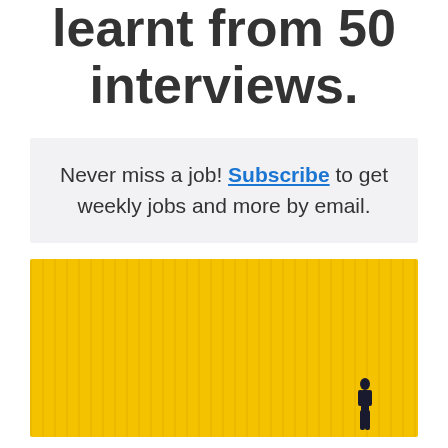learnt from 50 interviews.
Never miss a job! Subscribe to get weekly jobs and more by email.
[Figure (photo): Yellow textured background with small silhouette of a person walking at bottom right]